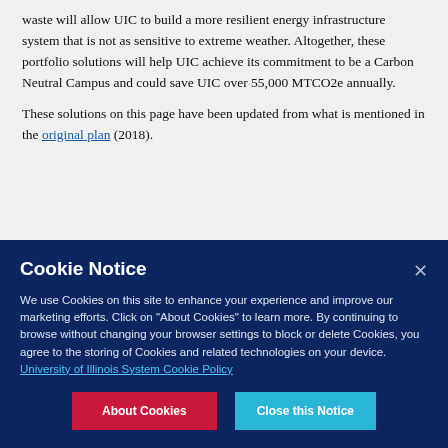waste will allow UIC to build a more resilient energy infrastructure system that is not as sensitive to extreme weather. Altogether, these portfolio solutions will help UIC achieve its commitment to be a Carbon Neutral Campus and could save UIC over 55,000 MTCO2e annually.
These solutions on this page have been updated from what is mentioned in the original plan (2018).
Cookie Notice
We use Cookies on this site to enhance your experience and improve our marketing efforts. Click on "About Cookies" to learn more. By continuing to browse without changing your browser settings to block or delete Cookies, you agree to the storing of Cookies and related technologies on your device.  University of Illinois System Cookie Policy